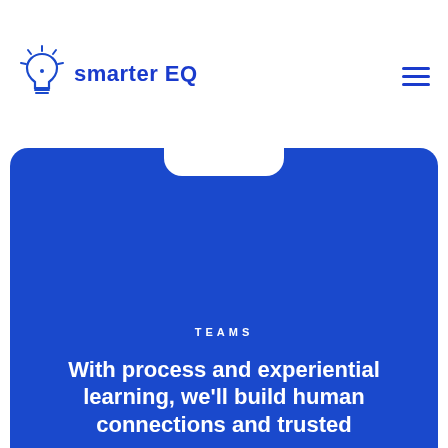[Figure (logo): Smarter EQ logo with lightbulb icon and bold blue text 'smarter EQ']
[Figure (screenshot): Blue panel with phone notch at top, TEAMS label, and tagline text on blue background]
TEAMS
With process and experiential learning, we'll build human connections and trusted